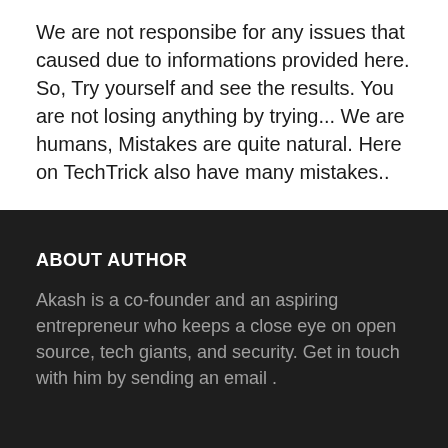We are not responsibe for any issues that caused due to informations provided here. So, Try yourself and see the results. You are not losing anything by trying... We are humans, Mistakes are quite natural. Here on TechTrick also have many mistakes..
ABOUT AUTHOR
Akash is a co-founder and an aspiring entrepreneur who keeps a close eye on open source, tech giants, and security. Get in touch with him by sending an email .